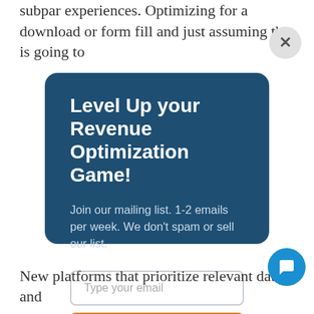subpar experiences. Optimizing for a download or form fill and just assuming that is going to
[Figure (screenshot): Modal popup with dark blue background showing email signup form with title 'Level Up your Revenue Optimization Game!', body text, email input field, and orange 'Sign Me Up' button. A close button (X) appears top-right and a chat button bottom-right.]
New platforms that prioritize relevant data and